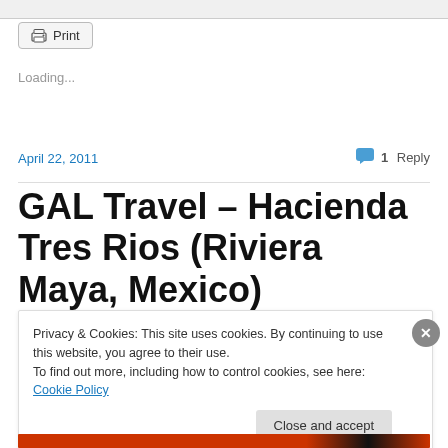Print
Loading...
April 22, 2011
1 Reply
GAL Travel – Hacienda Tres Rios (Riviera Maya, Mexico)
Privacy & Cookies: This site uses cookies. By continuing to use this website, you agree to their use.
To find out more, including how to control cookies, see here: Cookie Policy
Close and accept